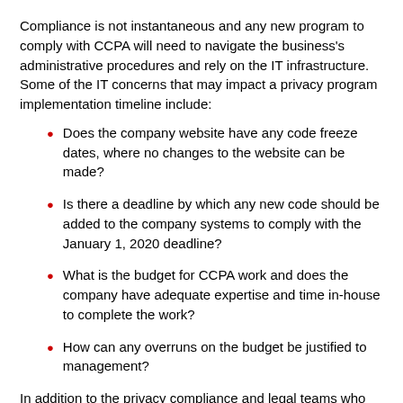Compliance is not instantaneous and any new program to comply with CCPA will need to navigate the business's administrative procedures and rely on the IT infrastructure. Some of the IT concerns that may impact a privacy program implementation timeline include:
Does the company website have any code freeze dates, where no changes to the website can be made?
Is there a deadline by which any new code should be added to the company systems to comply with the January 1, 2020 deadline?
What is the budget for CCPA work and does the company have adequate expertise and time in-house to complete the work?
How can any overruns on the budget be justified to management?
In addition to the privacy compliance and legal teams who will need to work with IT on many of the issues listed above, the third party risk or procurement team is another critical